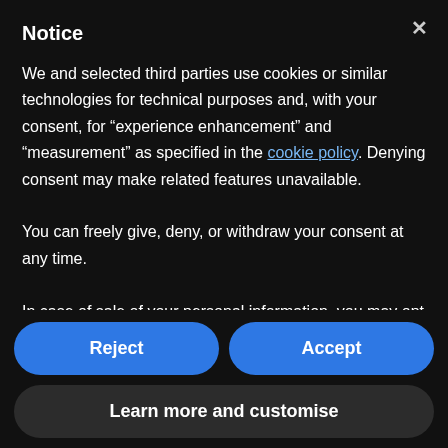Notice
We and selected third parties use cookies or similar technologies for technical purposes and, with your consent, for “experience enhancement” and “measurement” as specified in the cookie policy. Denying consent may make related features unavailable.
You can freely give, deny, or withdraw your consent at any time.
In case of sale of your personal information, you may opt out by using the link “Do Not Sell My Personal Information”.
Reject
Accept
Learn more and customise